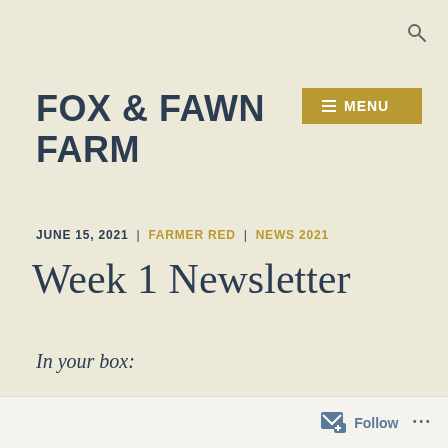FOX & FAWN FARM
MENU
JUNE 15, 2021  |  FARMER RED  |  NEWS 2021
Week 1 Newsletter
In your box:
Follow ...